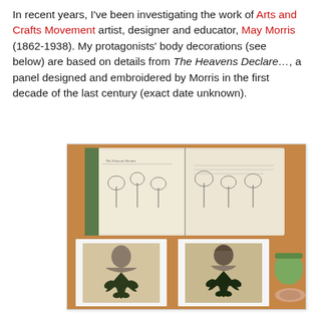In recent years, I've been investigating the work of Arts and Crafts Movement artist, designer and educator, May Morris (1862-1938). My protagonists' body decorations (see below) are based on details from The Heavens Declare…, a panel designed and embroidered by Morris in the first decade of the last century (exact date unknown).
[Figure (photo): Photo of an open illustrated book showing tree designs, placed on a wooden table, with two printed artworks below showing figures with plant/leaf body decorations (front and back views). A green cup and plate visible at the right edge.]